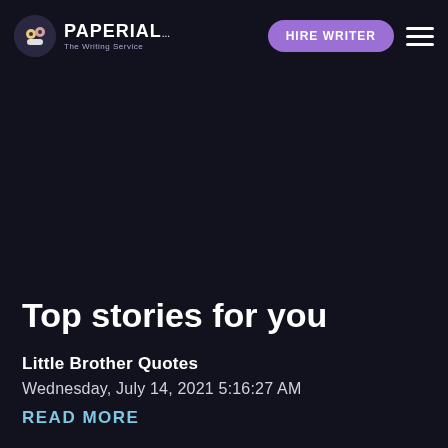PAPERIAL — HIRE WRITER
Top stories for you
Little Brother Quotes
Wednesday, July 14, 2021 5:16:27 AM
READ MORE